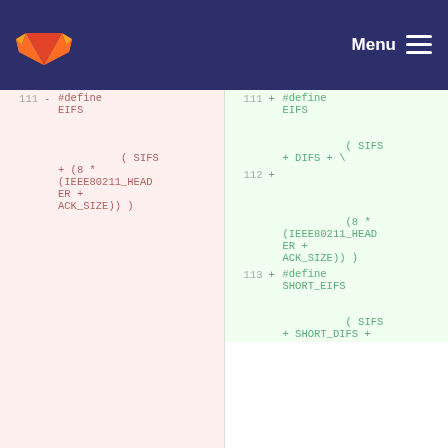GitLab Menu
[Figure (screenshot): Git diff view showing a code change. Left (removed) panel shows line 111 with '#define EIFS ( SIFS + (8 * (IEEE80211_HEADER + ACK_SIZE)) )'. Right (added) panel shows line 111 with '#define EIFS ( SIFS + DIFS + \', line 112 with '+ (8 * (IEEE80211_HEADER + ACK_SIZE)) )', and line 113 with '#define SHORT_EIFS ( SIFS + SHORT_DIFS +'.]